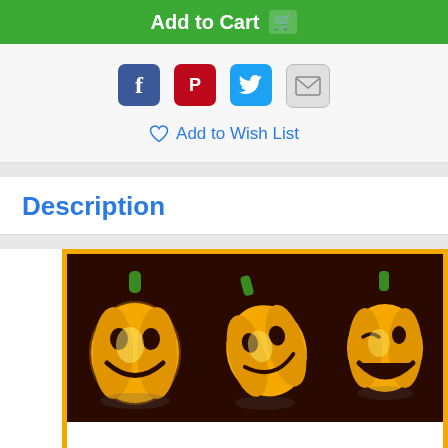Add to Cart
[Figure (screenshot): Social sharing icons: Facebook, Pinterest, Twitter, Email]
Add to Wish List
Description
[Figure (illustration): Halloween coupon book cover with three jack-o-lantern pumpkins on dark brown background, orange border, text '20 RoC COUPONS']